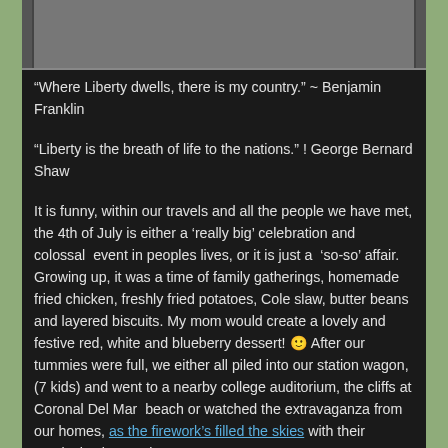[Figure (photo): Partial photo of a street scene cropped at the top of the page, showing what appears to be a sidewalk with a fire hydrant]
“Where Liberty dwells, there is my country.” ~ Benjamin Franklin
“Liberty is the breath of life to the nations.” ! George Bernard Shaw
It is funny, within our travels and all the people we have met, the 4th of July is either a ‘really big’ celebration and colossal event in peoples lives, or it is just a ‘so-so’ affair.  Growing up, it was a time of family gatherings, homemade fried chicken, freshly fried potatoes, Cole slaw, butter beans and layered biscuits. My mom would create a lovely and festive red, white and blueberry dessert! 🙂 After our tummies were full, we either all piled into our station wagon, (7 kids) and went to a nearby college auditorium, the cliffs at Coronal Del Mar beach or watched the extravaganza from our homes, as the firework’s filled the skies with their magical colors and fantastic displays from every area…